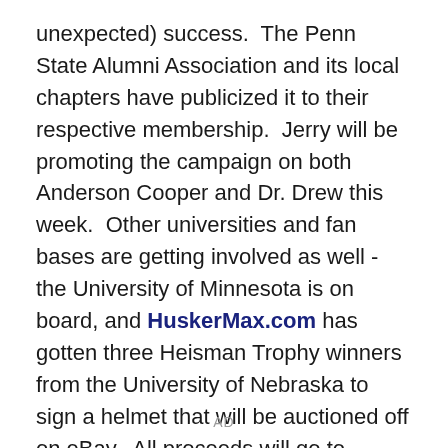unexpected) success.  The Penn State Alumni Association and its local chapters have publicized it to their respective membership.  Jerry will be promoting the campaign on both Anderson Cooper and Dr. Drew this week.  Other universities and fan bases are getting involved as well - the University of Minnesota is on board, and HuskerMax.com has gotten three Heisman Trophy winners from the University of Nebraska to sign a helmet that will be auctioned off on eBay.  All proceeds will go to #ProudPSUforRAINN.
AD